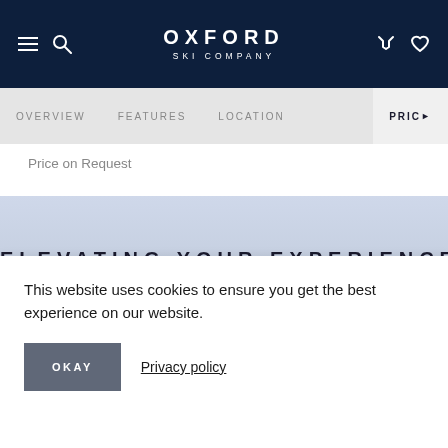OXFORD SKI COMPANY
OVERVIEW   FEATURES   LOCATION   PRICING
Price on Request
[Figure (photo): Snowy mountain landscape with text overlay reading ELEVATING YOUR EXPERIENCE]
This website uses cookies to ensure you get the best experience on our website.
OKAY   Privacy policy